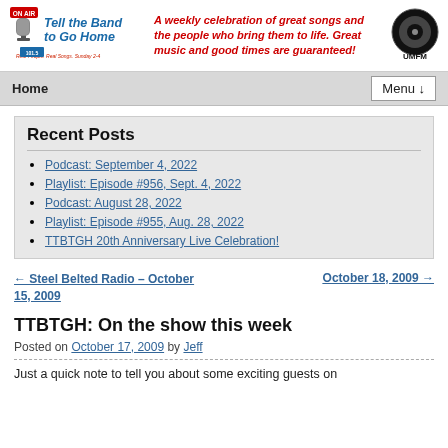[Figure (logo): Tell the Band to Go Home radio show logo with microphone graphic and UMFM station logo]
A weekly celebration of great songs and the people who bring them to life. Great music and good times are guaranteed!
Home   Menu ↓
Recent Posts
Podcast: September 4, 2022
Playlist: Episode #956, Sept. 4, 2022
Podcast: August 28, 2022
Playlist: Episode #955, Aug. 28, 2022
TTBTGH 20th Anniversary Live Celebration!
← Steel Belted Radio – October 15, 2009
October 18, 2009 →
TTBTGH: On the show this week
Posted on October 17, 2009 by Jeff
Just a quick note to tell you about some exciting guests on